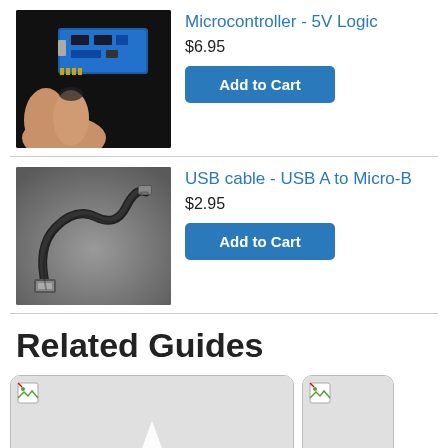[Figure (photo): Hand holding a small blue microcontroller circuit board]
Microcontroller - 5V Logic
$6.95
Add to Cart
[Figure (photo): USB cable - USB A to Micro-B, black, coiled]
USB cable - USB A to Micro-B
$2.95
Add to Cart
Related Guides
[Figure (photo): Related guide card with broken image icon and star logo placeholder]
[Figure (photo): Related guide card partial, broken image icon, cut off at right]